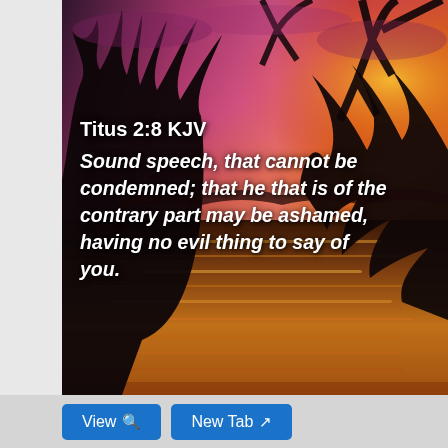[Figure (photo): A dramatic sunset over a river or lake with silhouetted trees and branches in the foreground. The sky shows vivid pinks, purples, and oranges reflected in the water below. Overlaid text shows a Bible verse from Titus 2:8 KJV.]
Titus 2:8 KJV Sound speech, that cannot be condemned; that he that is of the contrary part may be ashamed, having no evil thing to say of you.
View  New Tab